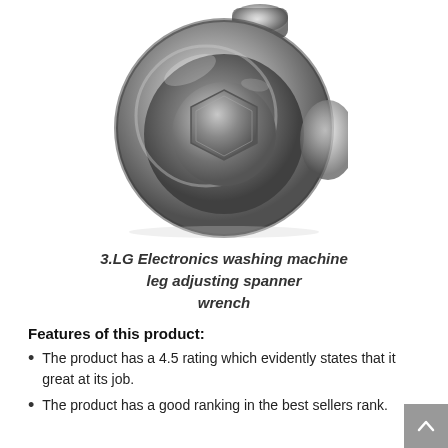[Figure (photo): Close-up photograph of a chrome/silver metal wrench (ring spanner) showing the circular ring end with a hexagonal socket opening in the center, viewed from above.]
3.LG Electronics washing machine leg adjusting spanner wrench
Features of this product:
The product has a 4.5 rating which evidently states that it great at its job.
The product has a good ranking in the best sellers rank.